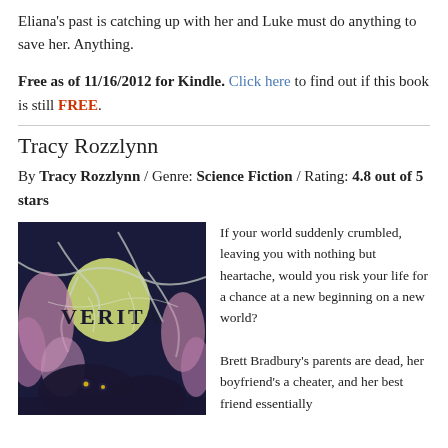Eliana's past is catching up with her and Luke must do anything to save her. Anything.
Free as of 11/16/2012 for Kindle. Click here to find out if this book is still FREE.
Tracy Rozzlynn
By Tracy Rozzlynn / Genre: Science Fiction / Rating: 4.8 out of 5 stars
[Figure (illustration): Book cover for 'Verita' by Tracy Rozzlynn, dark background with moon and stylized foliage and animals]
If your world suddenly crumbled, leaving you with nothing but heartache, would you risk your life for a chance at a new beginning on a new world?

Brett Bradbury's parents are dead, her boyfriend's a cheater, and her best friend essentially